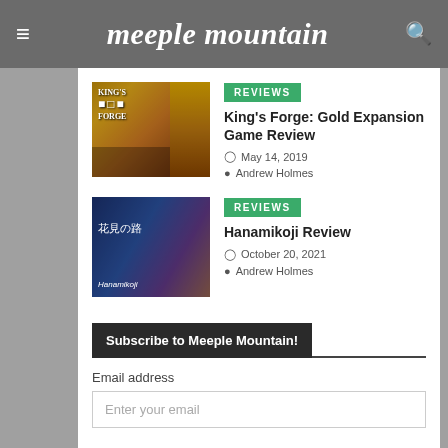meeple mountain
[Figure (photo): King's Forge: Gold Expansion board game box cover with golden coins and figures]
REVIEWS
King's Forge: Gold Expansion Game Review
May 14, 2019
Andrew Holmes
[Figure (photo): Hanamikoji board game box cover with Japanese woman in kimono on lantern-lit street]
REVIEWS
Hanamikoji Review
October 20, 2021
Andrew Holmes
Subscribe to Meeple Mountain!
Email address
Enter your email